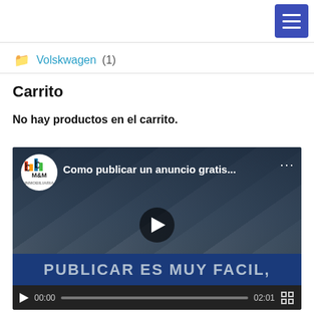Menu
Volskwagen (1)
Carrito
No hay productos en el carrito.
[Figure (screenshot): YouTube-style video player showing 'Como publicar un anuncio gratis...' with M&M channel logo, play button overlay, blue banner reading 'PUBLICAR ES MUY FACIL,' and video controls showing 00:00 / 02:01]